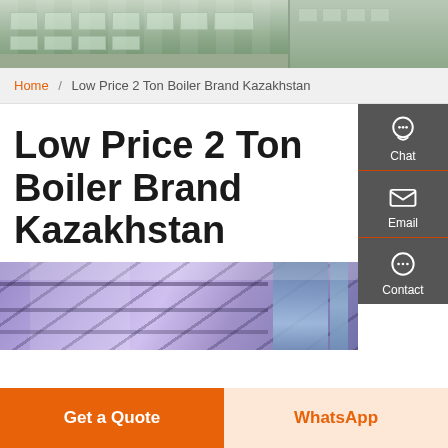[Figure (photo): Exterior photo of an industrial or commercial building with green lawn and road]
Home / Low Price 2 Ton Boiler Brand Kazakhstan
Low Price 2 Ton Boiler Brand Kazakhstan
[Figure (photo): Interior industrial photo showing steel beams, ceiling structure, and pipes with purple/blue lighting]
Get a Quote
WhatsApp